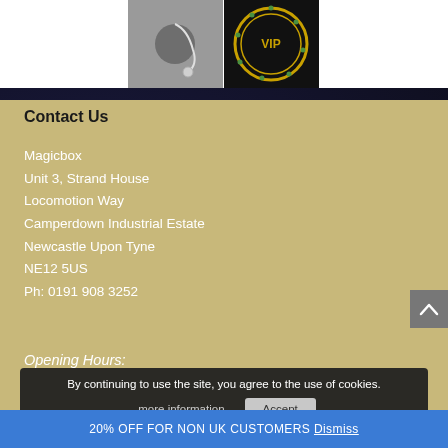[Figure (photo): Photo of earphones/earbuds on grey background]
[Figure (logo): VIP logo with gold circular design on black background]
Contact Us
Magicbox
Unit 3, Strand House
Locomtion Way
Camperdown Industrial Estate
Newcastle Upon Tyne
NE12 5US
Ph: 0191 908 3252
Opening Hours:
By continuing to use the site, you agree to the use of cookies.
more information
Accept
20% OFF FOR NON UK CUSTOMERS Dismiss